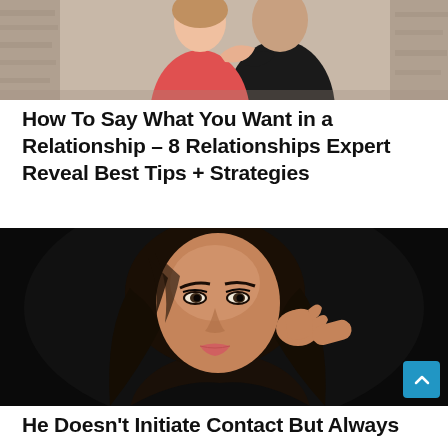[Figure (photo): Couple embracing outdoors near a weathered wall; woman in red top, man in dark shirt]
How To Say What You Want in a Relationship – 8 Relationships Expert Reveal Best Tips + Strategies
[Figure (photo): Young woman with long dark hair against a black background, looking at the camera with hand touching her hair]
He Doesn't Initiate Contact But Always Responds...